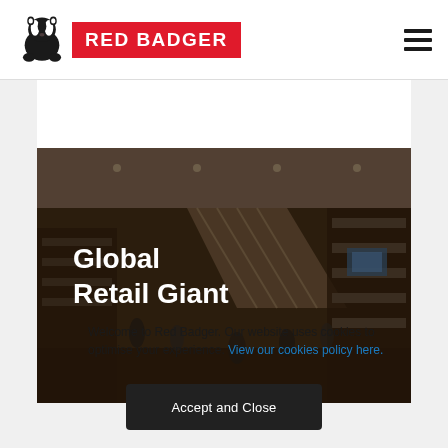[Figure (logo): Red Badger logo: black badger icon on left, red rectangle with white text 'RED BADGER' on right]
[Figure (illustration): Hamburger menu icon (three horizontal bars) in top right corner]
[Figure (photo): Overhead view of a busy retail store interior with escalators and shoppers, with dark overlay and white text 'Global Retail Giant' overlaid]
Welcome to Red Badger. Our website uses cookies to optimise your experience. View our cookies policy here.
Accept and Close